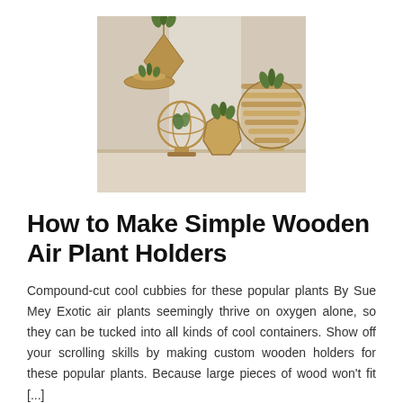[Figure (photo): Photograph of several wooden air plant holders of different geometric shapes (diamond, sphere, polygon, layered ball) displayed on a white surface near a window, each holding air plants (tillandsia).]
How to Make Simple Wooden Air Plant Holders
Compound-cut cool cubbies for these popular plants By Sue Mey Exotic air plants seemingly thrive on oxygen alone, so they can be tucked into all kinds of cool containers. Show off your scrolling skills by making custom wooden holders for these popular plants. Because large pieces of wood won't fit [...]